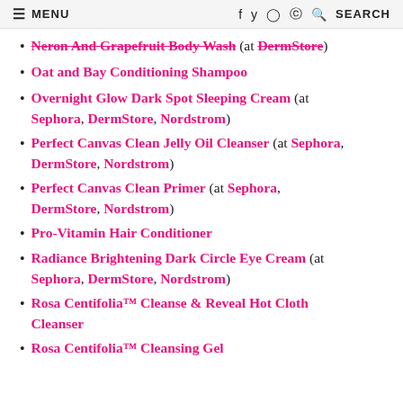MENU | f t @ @ SEARCH
Neron And Grapefruit Body Wash (at DermStore)
Oat and Bay Conditioning Shampoo
Overnight Glow Dark Spot Sleeping Cream (at Sephora, DermStore, Nordstrom)
Perfect Canvas Clean Jelly Oil Cleanser (at Sephora, DermStore, Nordstrom)
Perfect Canvas Clean Primer (at Sephora, DermStore, Nordstrom)
Pro-Vitamin Hair Conditioner
Radiance Brightening Dark Circle Eye Cream (at Sephora, DermStore, Nordstrom)
Rosa Centifolia™ Cleanse & Reveal Hot Cloth Cleanser
Rosa Centifolia™ Cleansing Gel